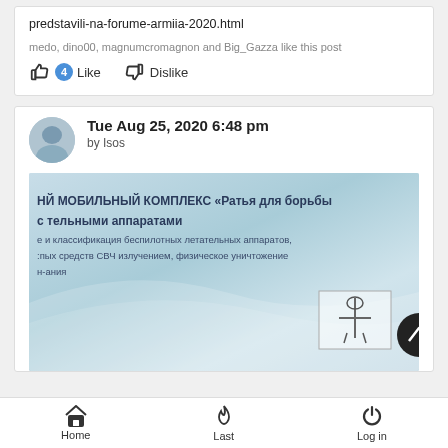predstavili-na-forume-armiia-2020.html
medo, dino00, magnumcromagnon and Big_Gazza like this post
4 Like  Dislike
Tue Aug 25, 2020 6:48 pm
by Isos
[Figure (photo): Photo of a Russian-language document or display showing text about a mobile complex 'Rat' for fighting unmanned aerial vehicles, mentioning microwave radiation and classification of UAVs. A small inset image of what appears to be a weapon/device is visible in the lower right corner.]
Home  Last  Log in